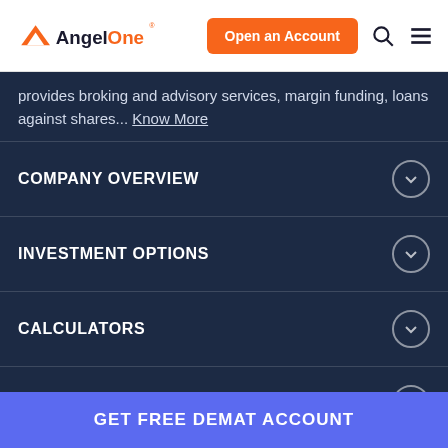AngelOne — Open an Account
provides broking and advisory services, margin funding, loans against shares... Know More
COMPANY OVERVIEW
INVESTMENT OPTIONS
CALCULATORS
KNOWLEDGE CENTER
LEARN TO EARN
GET FREE DEMAT ACCOUNT